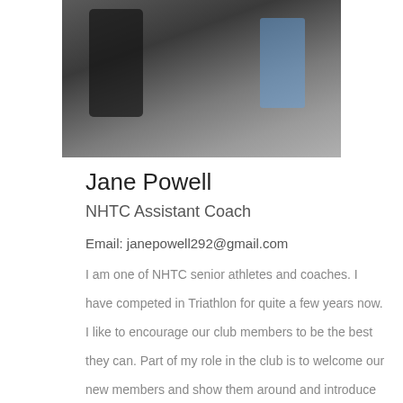[Figure (photo): Photo of Jane Powell at a triathlon event, showing athletes in dark and colorful sportswear]
Jane Powell
NHTC Assistant Coach
Email: janepowell292@gmail.com
I am one of NHTC senior athletes and coaches. I have competed in Triathlon for quite a few years now. I like to encourage our club members to be the best they can. Part of my role in the club is to welcome our new members and show them around and introduce all our coaches. I have a